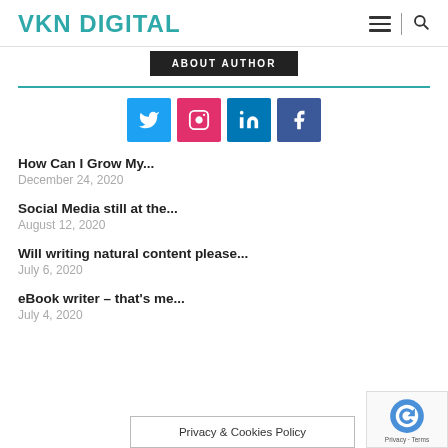VKN DIGITAL
[Figure (screenshot): ABOUT AUTHOR button, dark background]
[Figure (infographic): Social media icons: Twitter (blue), Instagram (pink/red), LinkedIn (teal), Facebook (dark blue)]
How Can I Grow My...
December 24, 2020
Social Media still at the...
August 12, 2020
Will writing natural content please...
July 6, 2020
eBook writer – that's me...
July 4, 2020
Privacy & Cookies Policy